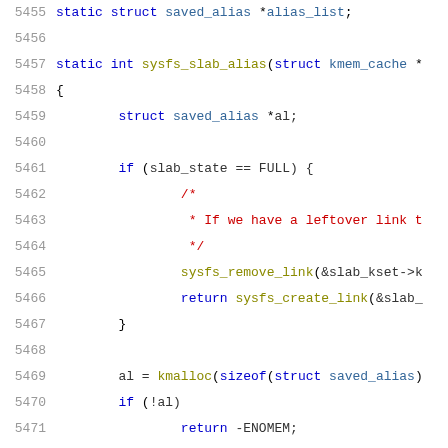[Figure (screenshot): Source code listing showing lines 5455-5476 of a C file, featuring the sysfs_slab_alias function with syntax highlighting. Line numbers in gray on the left, code with colored keywords (blue), function names (olive/yellow), comments (red), and identifiers (blue/teal).]